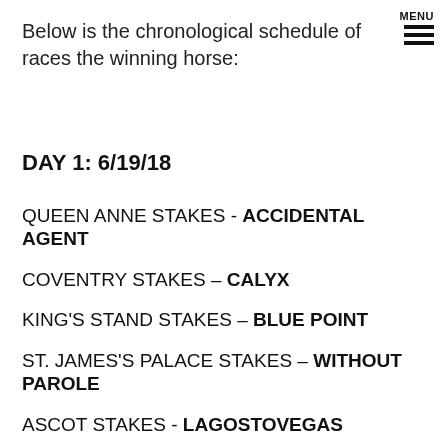Below is the chronological schedule of races the winning horse:
DAY 1: 6/19/18
QUEEN ANNE STAKES - ACCIDENTAL AGENT
COVENTRY STAKES – CALYX
KING'S STAND STAKES – BLUE POINT
ST. JAMES'S PALACE STAKES – WITHOUT PAROLE
ASCOT STAKES - LAGOSTOVEGAS